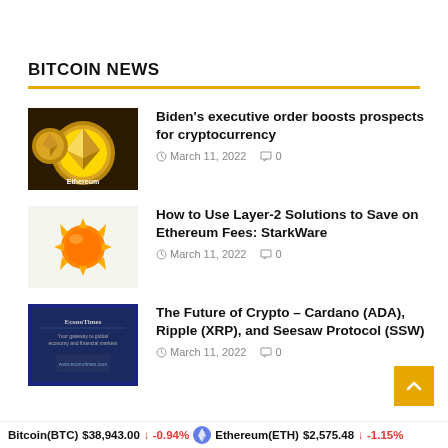BITCOIN NEWS
Biden’s executive order boosts prospects for cryptocurrency | March 11, 2022 | 0 comments
How to Use Layer-2 Solutions to Save on Ethereum Fees: StarkWare | March 11, 2022 | 0 comments
The Future of Crypto – Cardano (ADA), Ripple (XRP), and Seesaw Protocol (SSW) | March 11, 2022 | 0 comments
Bitcoin(BTC) $38,943.00 ↓ -0.94% | Ethereum(ETH) $2,575.48 ↓ -1.15%